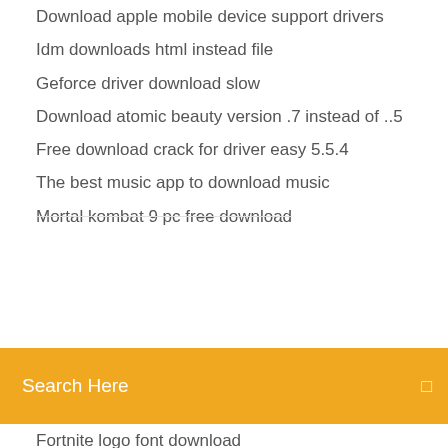Download apple mobile device support drivers
Idm downloads html instead file
Geforce driver download slow
Download atomic beauty version .7 instead of ..5
Free download crack for driver easy 5.5.4
The best music app to download music
Mortal kombat 9 pc free download
Search Here
Fortnite logo font download
Minecraft .exe launcher download no virus
Acer aspire one drivers download
Download obra nilita vientos gaston sin nombre pdf
Download driver for 3520 series printer
Dolphin emulator 4.0-8233 apk download
Problem vlc 3.0.2 older stable version vlc download
Hidden treasures paddi newlin pdf download
Cannot download google sheet file to excel
Amazing race torrent season 39 download eztv